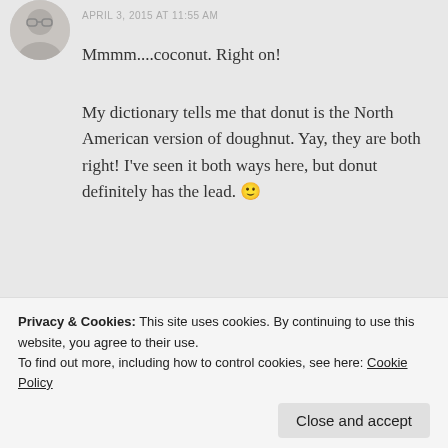APRIL 3, 2015 AT 11:55 AM
Mmmm....coconut. Right on!
My dictionary tells me that donut is the North American version of doughnut. Yay, they are both right! I've seen it both ways here, but donut definitely has the lead. 🙂
★ Like
REPLY
CompGeekDavid says:
Privacy & Cookies: This site uses cookies. By continuing to use this website, you agree to their use.
To find out more, including how to control cookies, see here: Cookie Policy
Close and accept